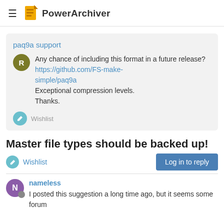PowerArchiver
paq9a support
Any chance of including this format in a future release? https://github.com/FS-make-simple/paq9a Exceptional compression levels. Thanks.
Wishlist
Master file types should be backed up!
Wishlist
Log in to reply
nameless
I posted this suggestion a long time ago, but it seems some forum